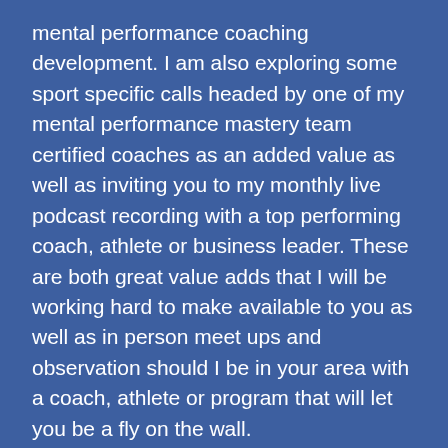mental performance coaching development. I am also exploring some sport specific calls headed by one of my mental performance mastery team certified coaches as an added value as well as inviting you to my monthly live podcast recording with a top performing coach, athlete or business leader. These are both great value adds that I will be working hard to make available to you as well as in person meet ups and observation should I be in your area with a coach, athlete or program that will let you be a fly on the wall.
Again, No worries if you can't make a call, we record all of the calls and will send them to you shortly after the call so that you can review the material, watch the recording and get the benefits even if you have a game that night or have something come up where you can't be there in